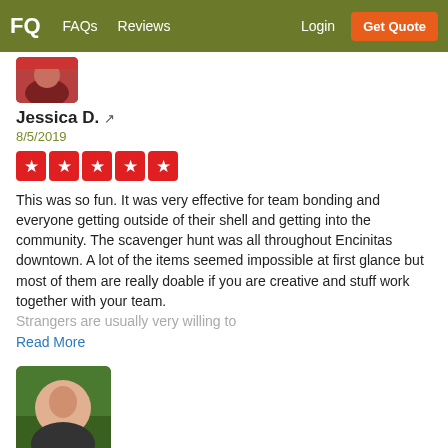FQ  FAQs  Reviews  Login  Get Quote
[Figure (photo): Partial profile photo of Jessica D. showing a person in a pink/red jacket]
Jessica D. ↗
8/5/2019
[Figure (other): 5 red star rating boxes]
This was so fun. It was very effective for team bonding and everyone getting outside of their shell and getting into the community. The scavenger hunt was all throughout Encinitas downtown. A lot of the items seemed impossible at first glance but most of them are really doable if you are creative and stuff work together with your team. Strangers are usually very willing to
Read More
[Figure (photo): Profile photo of Christy V. showing a smiling woman in a dark top against a green background]
Christy V. ↗
5/24/2019
[Figure (other): Partial red star rating boxes (cut off at bottom)]